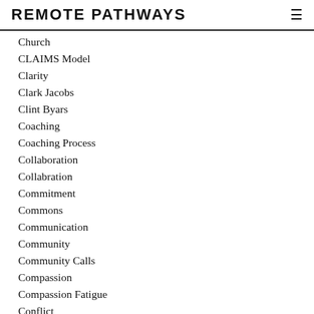REMOTE PATHWAYS
Church
CLAIMS Model
Clarity
Clark Jacobs
Clint Byars
Coaching
Coaching Process
Collaboration
Collabration
Commitment
Commons
Communication
Community
Community Calls
Compassion
Compassion Fatigue
Conflict